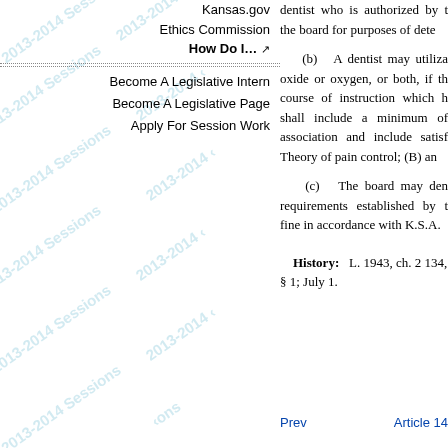Kansas.gov
Ethics Commission
How Do I...
Become A Legislative Intern
Become A Legislative Page
Apply For Session Work
dentist who is authorized by the board for purposes of dete
(b)   A dentist may utilize oxide or oxygen, or both, if the course of instruction which h shall include a minimum of association and include satisf Theory of pain control; (B) an
(c)   The board may den requirements established by t fine in accordance with K.S.A.
History:   L. 1943, ch. 2 134, § 1; July 1.
Prev    Article 14